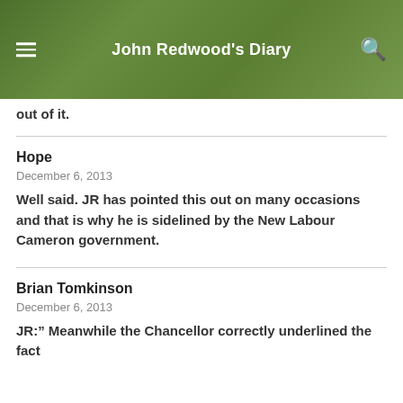John Redwood's Diary
out of it.
Hope
December 6, 2013
Well said. JR has pointed this out on many occasions and that is why he is sidelined by the New Labour Cameron government.
Brian Tomkinson
December 6, 2013
JR:" Meanwhile the Chancellor correctly underlined the fact that...